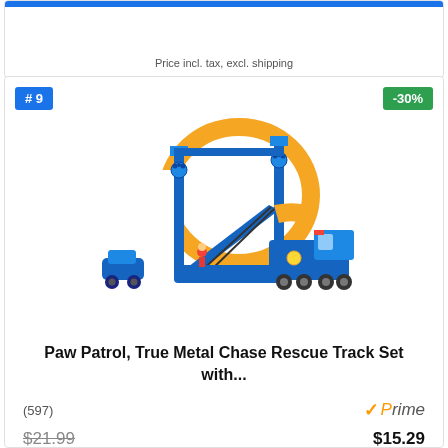Price incl. tax, excl. shipping
# 9
-30%
[Figure (photo): Paw Patrol True Metal Chase Rescue Track Set toy with a blue police semi-truck, orange loop track, ramp, and small toy vehicles]
Paw Patrol, True Metal Chase Rescue Track Set with...
(597)
Prime
$21.99
$15.29